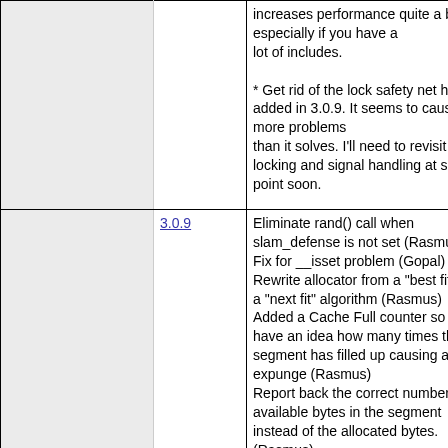|  | Version | Changes |
| --- | --- | --- |
|  |  | increases performance quite a bit, especially if you have a lot of includes.

* Get rid of the lock safety net hack I added in 3.0.9. It seems to cause more problems than it solves. I'll need to revisit locking and signal handling at some point soon. |
|  | 3.0.9 | Eliminate rand() call when slam_defense is not set (Rasmus)
Fix for __isset problem (Gopal)
Rewrite allocator from a "best fit" to a "next fit" algorithm (Rasmus)
Added a Cache Full counter so we have an idea how many times the segment has filled up causing an expunge (Rasmus)
Report back the correct number of available bytes in the segment instead of the allocated bytes. (Rasmus)
Add cache busy flag which is set when an expunge is underway (Rasmus)
Add automatic serialization of objects in apc_store() (Marcus) |